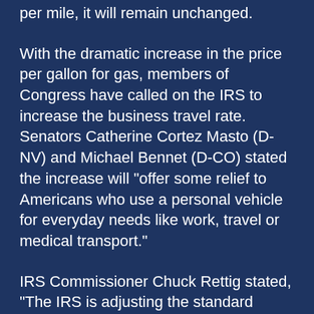per mile, it will remain unchanged.
With the dramatic increase in the price per gallon for gas, members of Congress have called on the IRS to increase the business travel rate. Senators Catherine Cortez Masto (D-NV) and Michael Bennet (D-CO) stated the increase will "offer some relief to Americans who use a personal vehicle for everyday needs like work, travel or medical transport."
IRS Commissioner Chuck Rettig stated, "The IRS is adjusting the standard mileage rates to better reflect the recent increase in fuel prices. We are aware a number of unusual factors have come into play involving fuel costs, and we are taking this special step to help taxpayers, businesses and others who use this rate."